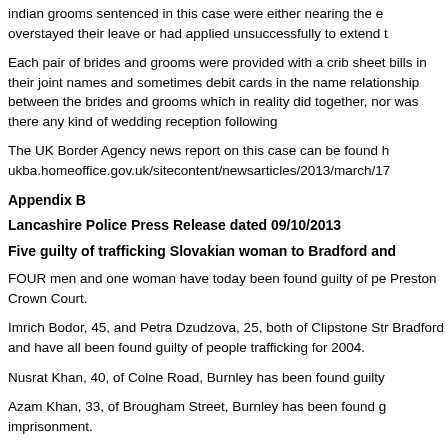Indian grooms sentenced in this case were either nearing the end of their leave, overstayed their leave or had applied unsuccessfully to extend their leave.
Each pair of brides and grooms were provided with a crib sheet and had utility bills in their joint names and sometimes debit cards in the name of the bride to show relationship between the brides and grooms which in reality did not live together, nor was there any kind of wedding reception following the ceremony.
The UK Border Agency news report on this case can be found here: http://www.ukba.homeoffice.gov.uk/sitecontent/newsarticles/2013/march/17-
Appendix B
Lancashire Police Press Release dated 09/10/2013
Five guilty of trafficking Slovakian woman to Bradford and
FOUR men and one woman have today been found guilty of pe Preston Crown Court.
Imrich Bodor, 45, and Petra Dzudzova, 25, both of Clipstone Str Bradford and have all been found guilty of people trafficking for 2004.
Nusrat Khan, 40, of Colne Road, Burnley has been found guilty
Azam Khan, 33, of Brougham Street, Burnley has been found g imprisonment.
Kristina Makunova, 37 of Girlington Road, Bradford pleaded gui trial.